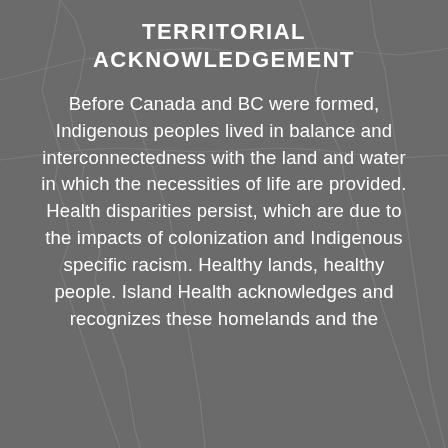[Figure (map): Faint outline map of British Columbia / Vancouver Island region rendered in light grey lines on dark grey background]
TERRITORIAL ACKNOWLEDGEMENT
Before Canada and BC were formed, Indigenous peoples lived in balance and interconnectedness with the land and water in which the necessities of life are provided. Health disparities persist, which are due to the impacts of colonization and Indigenous specific racism. Healthy lands, healthy people. Island Health acknowledges and recognizes these homelands and the